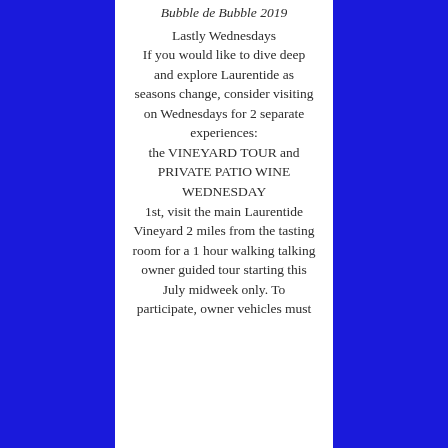Bubble de Bubble 2019
Lastly Wednesdays If you would like to dive deep and explore Laurentide as seasons change, consider visiting on Wednesdays for 2 separate experiences: the VINEYARD TOUR and PRIVATE PATIO WINE WEDNESDAY 1st, visit the main Laurentide Vineyard 2 miles from the tasting room for a 1 hour walking talking owner guided tour starting this July midweek only. To participate, owner vehicles must